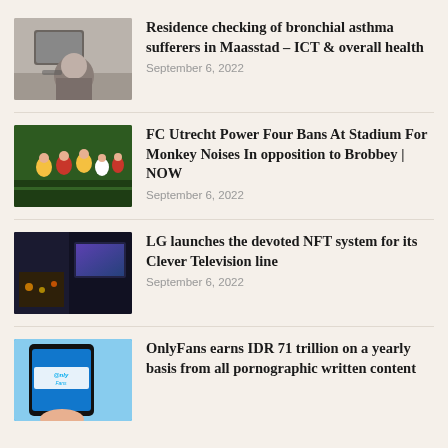[Figure (photo): Person sitting on floor with a tablet device]
Residence checking of bronchial asthma sufferers in Maasstad - ICT & overall health
September 6, 2022
[Figure (photo): FC Utrecht soccer players on field]
FC Utrecht Power Four Bans At Stadium For Monkey Noises In opposition to Brobbey | NOW
September 6, 2022
[Figure (photo): Dark room with LG smart TV display showing NFT content]
LG launches the devoted NFT system for its Clever Television line
September 6, 2022
[Figure (photo): Hand holding smartphone with OnlyFans logo on screen]
OnlyFans earns IDR 71 trillion on a yearly basis from all pornographic written content